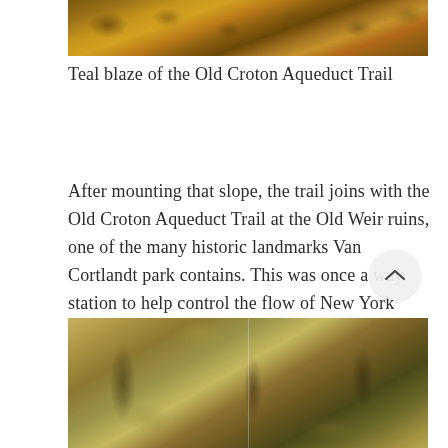[Figure (photo): Partial view of autumn leaves covering the ground, brown and golden tones, cropped at top of page]
Teal blaze of the Old Croton Aqueduct Trail
After mounting that slope, the trail joins with the Old Croton Aqueduct Trail at the Old Weir ruins, one of the many historic landmarks Van Cortlandt park contains. This was once a way station to help control the flow of New York City's water supply! [2]
[Figure (photo): Forest canopy view from below showing autumn foliage in yellow and green tones, tree trunks visible, cropped at bottom of page]